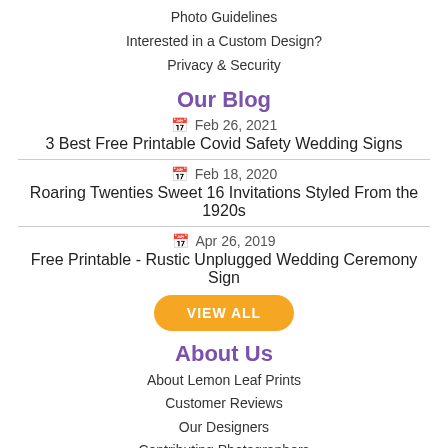Photo Guidelines
Interested in a Custom Design?
Privacy & Security
Our Blog
Feb 26, 2021
3 Best Free Printable Covid Safety Wedding Signs
Feb 18, 2020
Roaring Twenties Sweet 16 Invitations Styled From the 1920s
Apr 26, 2019
Free Printable - Rustic Unplugged Wedding Ceremony Sign
VIEW ALL
About Us
About Lemon Leaf Prints
Customer Reviews
Our Designers
Contributing Photographers